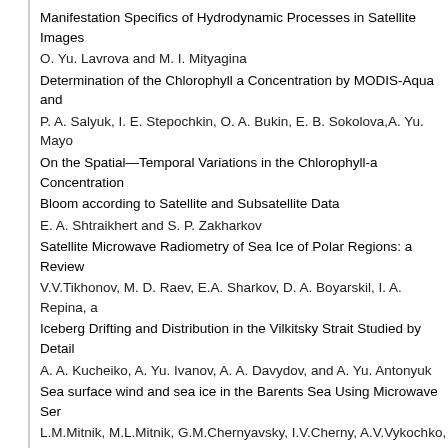Manifestation Specifics of Hydrodynamic Processes in Satellite Images
O. Yu. Lavrova and M. I. Mityagina
Determination of the Chlorophyll a Concentration by MODIS-Aqua and
P. A. Salyuk, I. E. Stepochkin, O. A. Bukin, E. B. Sokolova,A. Yu. Mayo
On the Spatial—Temporal Variations in the Chlorophyll-a Concentration
Bloom according to Satellite and Subsatellite Data
E. A. Shtraikhert and S. P. Zakharkov
Satellite Microwave Radiometry of Sea Ice of Polar Regions: a Review
V.V.Tikhonov, M. D. Raev, E.A. Sharkov, D. A. Boyarskil, I. A. Repina, a
Iceberg Drifting and Distribution in the Vilkitsky Strait Studied by Detail
A. A. Kucheiko, A. Yu. Ivanov, A. A. Davydov, and A. Yu. Antonyuk
Sea surface wind and sea ice in the Barents Sea Using Microwave Ser
L.M.Mitnik, M.L.Mitnik, G.M.Chernyavsky, I.V.Cherny, A.V.Vykochko, M
Climatic Variability of Transport in the Upper Layer of the Antarctic Circ
Ju.V.Artamonov, A.V. Fedirko, and E.A.Skripaleva
Convective structures in the Lofoten Basin Based on Satellite and Argo
V.A.Alexeev, V.V.Ivanov, I.A.Repina, O.Yu.Lavrova, and S.V.Stanichny